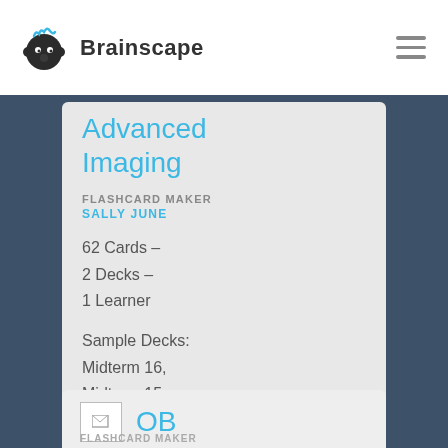Brainscape
Advanced Imaging
FLASHCARD MAKER
SALLY JUNE
62 Cards –
2 Decks –
1 Learner
Sample Decks: Midterm 16, Midterm 15,
OB
FLASHCARD MAKER